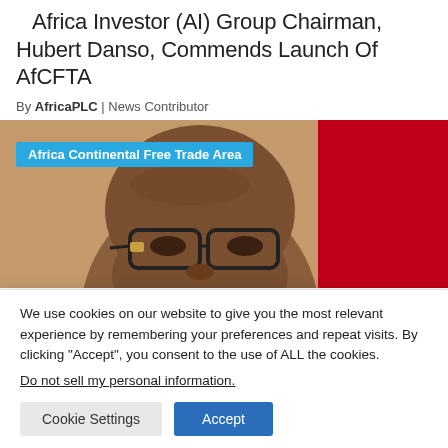Africa Investor (AI) Group Chairman, Hubert Danso, Commends Launch Of AfCFTA
By AfricaPLC | News Contributor
[Figure (photo): Photo of a man wearing glasses in front of a red background, with a blue label overlay reading 'Africa Continental Free Trade Area']
We use cookies on our website to give you the most relevant experience by remembering your preferences and repeat visits. By clicking “Accept”, you consent to the use of ALL the cookies.
Do not sell my personal information.
Cookie Settings   Accept